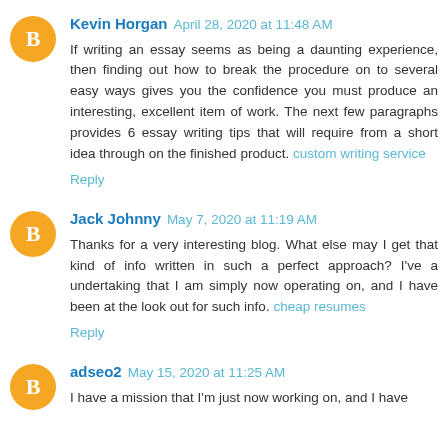Kevin Horgan April 28, 2020 at 11:48 AM
If writing an essay seems as being a daunting experience, then finding how to break the procedure on to several easy ways gives you the confidence you must produce an interesting, excellent item of work. The next few paragraphs provides 6 essay writing tips that will require from a short idea through on the finished product. custom writing service
Reply
Jack Johnny May 7, 2020 at 11:19 AM
Thanks for a very interesting blog. What else may I get that kind of info written in such a perfect approach? I've a undertaking that I am simply now operating on, and I have been at the look out for such info. cheap resumes
Reply
adseo2 May 15, 2020 at 11:25 AM
I have a mission that I'm just now working on, and I have